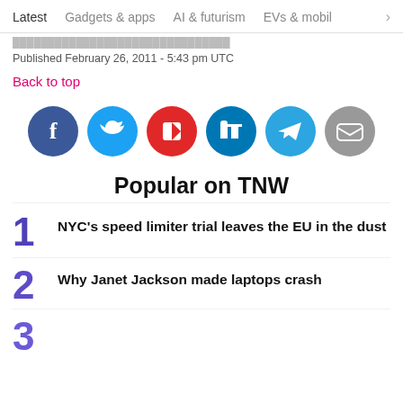Latest  Gadgets & apps  AI & futurism  EVs & mobil >
Published February 26, 2011 - 5:43 pm UTC
Back to top
[Figure (infographic): Social sharing icons: Facebook, Twitter, Flipboard, LinkedIn, Telegram, Email]
Popular on TNW
1. NYC's speed limiter trial leaves the EU in the dust
2. Why Janet Jackson made laptops crash
3. (partial)